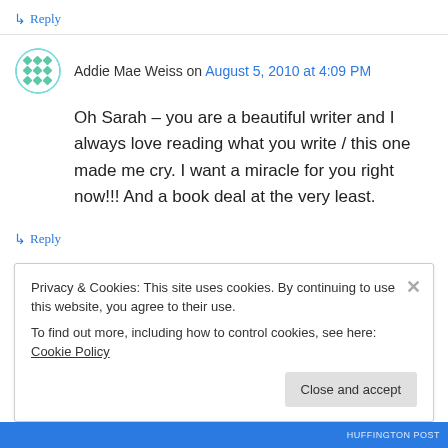↳ Reply
Addie Mae Weiss on August 5, 2010 at 4:09 PM
Oh Sarah – you are a beautiful writer and I always love reading what you write / this one made me cry. I want a miracle for you right now!!! And a book deal at the very least.
↳ Reply
Privacy & Cookies: This site uses cookies. By continuing to use this website, you agree to their use.
To find out more, including how to control cookies, see here: Cookie Policy
Close and accept